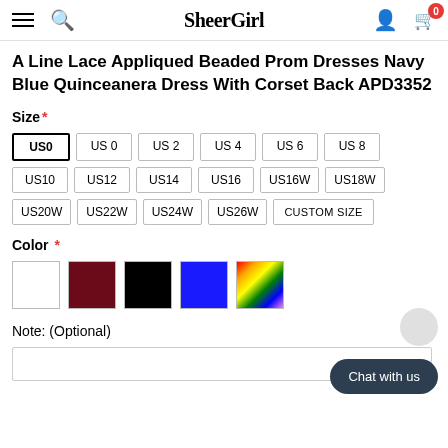SheerGirl — navigation bar with hamburger menu, search, logo, user icon, cart (0)
A Line Lace Appliqued Beaded Prom Dresses Navy Blue Quinceanera Dress With Corset Back APD3352
Size *
US0 (selected), US 0, US 2, US 4, US 6, US 8, US10, US12, US14, US16, US16W, US18W, US20W, US22W, US24W, US26W, CUSTOM SIZE
Color *
Color swatches: white, dark red, black, navy blue, rainbow/custom
Note: (Optional)